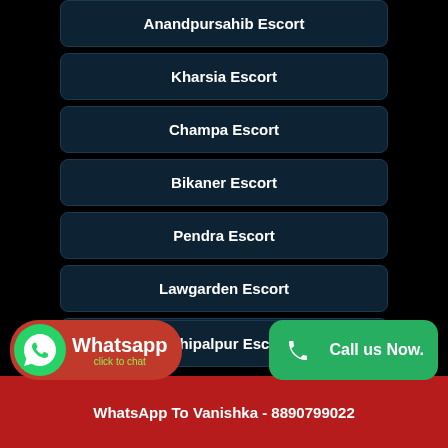Anandpursahib Escort
Kharsia Escort
Champa Escort
Bikaner Escort
Pendra Escort
Lawgarden Escort
Kandivali Escort
Mahipalpur Escort
Call Vanishka Now - 8890799022
WhatsApp To Vanishka - 8890799022